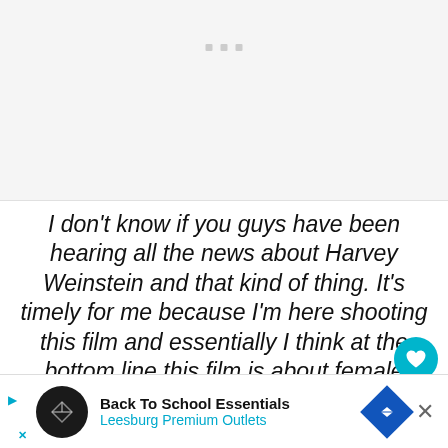[Figure (other): Gray placeholder image area with three small gray square dots centered near the top]
I don't know if you guys have been hearing all the news about Harvey Weinstein and that kind of thing. It's timely for me because I'm here shooting this film and essentially I think at the bottom line this film is about female empowerment and a woman being powerful, yet it made me feel ve...
[Figure (other): Advertisement banner: Back To School Essentials - Leesburg Premium Outlets with navigation icon and close button]